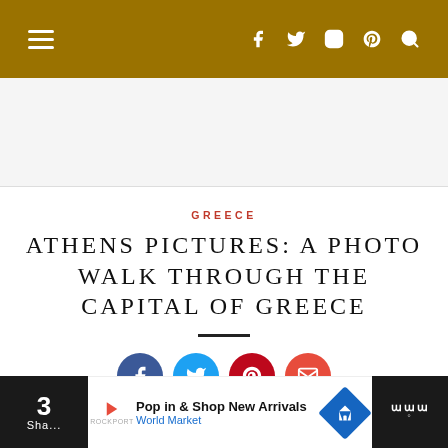Navigation bar with hamburger menu and social icons: f (Facebook), Twitter, Instagram, Pinterest, Search
[Figure (other): Advertisement placeholder area]
GREECE
ATHENS PICTURES: A PHOTO WALK THROUGH THE CAPITAL OF GREECE
[Figure (other): Social share buttons: Facebook, Twitter, Pinterest, Email]
3 Shares | Pop in & Shop New Arrivals World Market | navigation logo | wm°